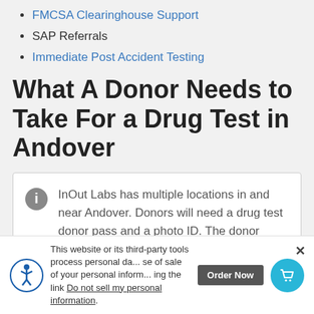FMCSA Clearinghouse Support
SAP Referrals
Immediate Post Accident Testing
What A Donor Needs to Take For a Drug Test in Andover
InOut Labs has multiple locations in and near Andover. Donors will need a drug test donor pass and a photo ID. The donor pass/drug test order form is sent by our office to you after your order is placed. Drug testing centers do not
This website or its third-party tools process personal da... se of sale of your personal inform... ing the link Do not sell my personal information.